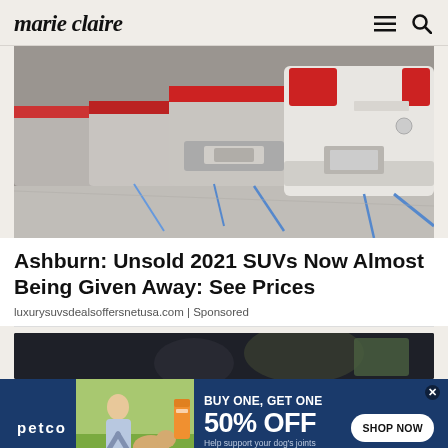marie claire
[Figure (photo): Row of white and silver SUVs/cars parked in a cargo hold or warehouse, viewed from the rear, secured with blue straps on a gray floor.]
Ashburn: Unsold 2021 SUVs Now Almost Being Given Away: See Prices
luxurysuvsdealsoffersnetusa.com | Sponsored
[Figure (photo): Dark image partially visible, appears to be a person with a dog in a dark setting.]
[Figure (infographic): Petco advertisement banner: BUY ONE, GET ONE 50% OFF. Help support your dog's joints with a premium supplement. SHOP NOW button. Shows woman with golden retriever dog and supplement product.]